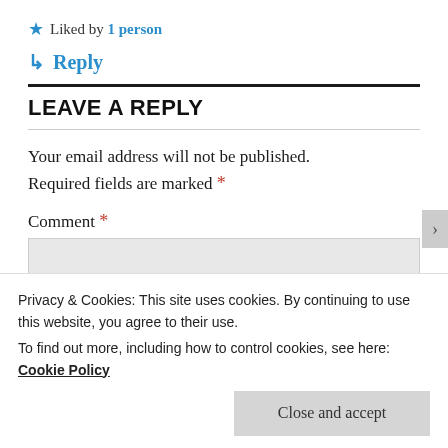★ Liked by 1 person
↳ Reply
LEAVE A REPLY
Your email address will not be published. Required fields are marked *
Comment *
Privacy & Cookies: This site uses cookies. By continuing to use this website, you agree to their use. To find out more, including how to control cookies, see here: Cookie Policy
Close and accept